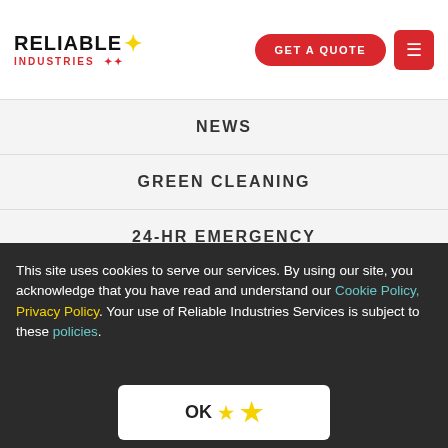RELIABLE INDUSTRIES
NEWS
GREEN CLEANING
24-HR EMERGENCY
PHILANTHROPY
CONTACT US
Monday – Friday: 8:30 am to 5:00 pm
Saturday: 8:00 am to 2:00 pm
Closed on Sundays and Public Holidays
FOLLOW US ON
This site uses cookies to serve our services. By using our site, you acknowledge that you have read and understand our Cookie Policy, Privacy Policy. Your use of Reliable Industries Services is subject to these policies.
OK